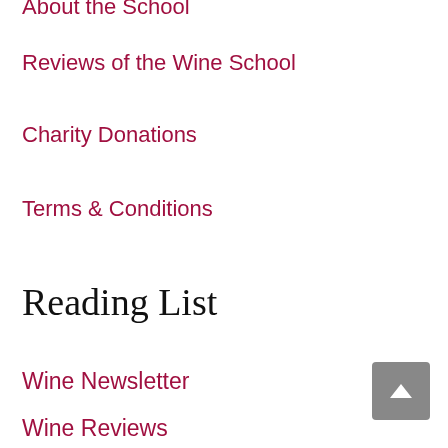About the School
Reviews of the Wine School
Charity Donations
Terms & Conditions
Reading List
Wine Newsletter
Wine Reviews
Wine 101
Sommelier Quiz
Wine Glossary
Wine Jobs